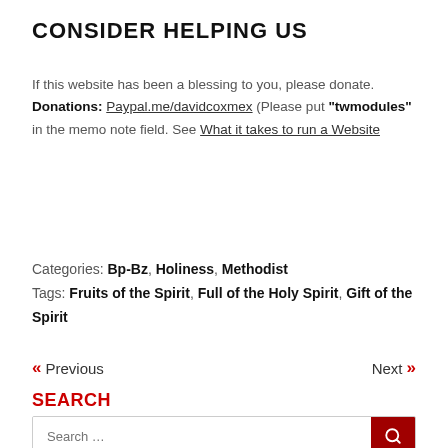CONSIDER HELPING US
If this website has been a blessing to you, please donate. Donations: Paypal.me/davidcoxmex (Please put "twmodules" in the memo note field. See What it takes to run a Website
Categories: Bp-Bz, Holiness, Methodist
Tags: Fruits of the Spirit, Full of the Holy Spirit, Gift of the Spirit
« Previous   Next »
SEARCH
Search ...